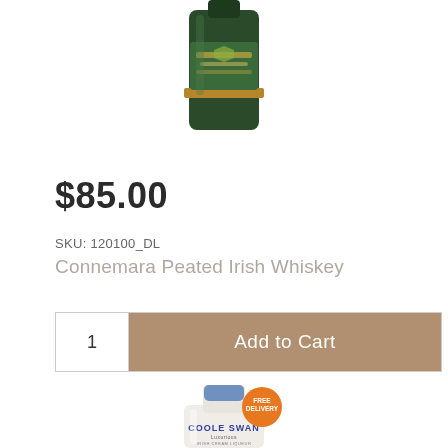[Figure (photo): Connemara Peated Irish Whiskey bottle, partially visible at top of page, green bottle with label]
$85.00
SKU: 120100_DL
Connemara Peated Irish Whiskey
1   Add to Cart
[Figure (photo): Coole Swan Irish Cream Liqueur bottle, white bottle with blue cap, orange 'FREE DELIVERY' badge, partially visible at bottom of page]